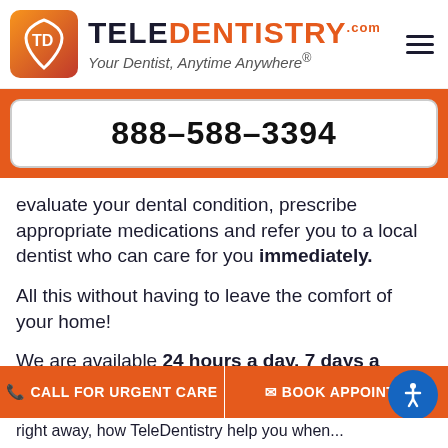[Figure (logo): TeleDentistry logo with orange shield icon and text 'TELEDENTISTRY.com - Your Dentist, Anytime Anywhere®']
888-588-3394
evaluate your dental condition, prescribe appropriate medications and refer you to a local dentist who can care for you immediately.
All this without having to leave the comfort of your home!
We are available 24 hours a day, 7 days a week, and are committed to caring for you in a few simple clicks.
CALL FOR URGENT CARE
BOOK APPOINTM…